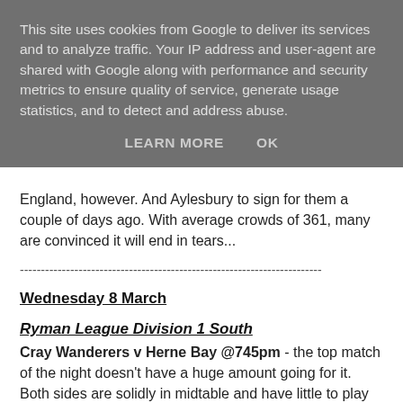This site uses cookies from Google to deliver its services and to analyze traffic. Your IP address and user-agent are shared with Google along with performance and security metrics to ensure quality of service, generate usage statistics, and to detect and address abuse.
LEARN MORE   OK
England, however. And Aylesbury to sign for them a couple of days ago. With average crowds of 361, many are convinced it will end in tears...
------------------------------------------------------------------------
Wednesday 8 March
Ryman League Division 1 South
Cray Wanderers v Herne Bay @745pm - the top match of the night doesn't have a huge amount going for it. Both sides are solidly in midtable and have little to play for. If you're looking for a reason to go, the fact that Cray are believed to be the oldest club in London could be worth the trip to Bromley.